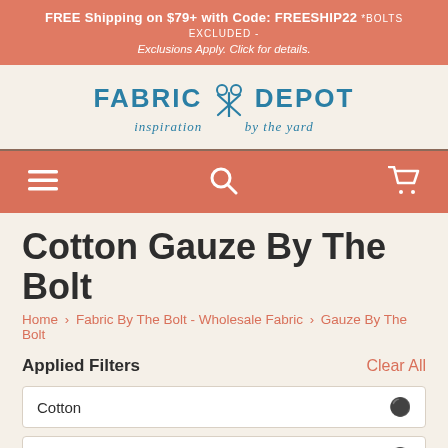FREE Shipping on $79+ with Code: FREESHIP22 *BOLTS EXCLUDED- Exclusions Apply. Click for details.
[Figure (logo): Fabric Depot logo with scissors icon, tagline: inspiration by the yard]
[Figure (other): Navigation bar with hamburger menu icon, search icon, and cart icon on salmon/coral background]
Cotton Gauze By The Bolt
Home > Fabric By The Bolt - Wholesale Fabric > Gauze By The Bolt
Applied Filters
Clear All
Cotton ✕
$15 & More ✕